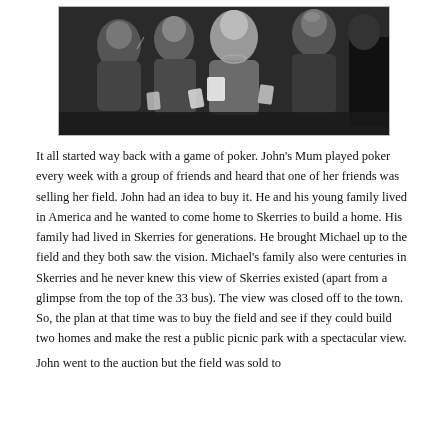[Figure (photo): Black and white photograph of several women playing poker, holding cards, gathered around a table.]
It all started way back with a game of poker. John's Mum played poker every week with a group of friends and heard that one of her friends was selling her field. John had an idea to buy it. He and his young family lived in America and he wanted to come home to Skerries to build a home. His family had lived in Skerries for generations. He brought Michael up to the field and they both saw the vision. Michael's family also were centuries in Skerries and he never knew this view of Skerries existed (apart from a glimpse from the top of the 33 bus). The view was closed off to the town. So, the plan at that time was to buy the field and see if they could build two homes and make the rest a public picnic park with a spectacular view.
John went to the auction but the field was sold to